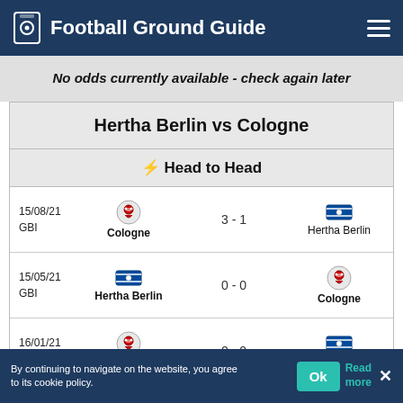Football Ground Guide
No odds currently available - check again later
Hertha Berlin vs Cologne
⚡ Head to Head
| Date | Home Team | Score | Away Team |
| --- | --- | --- | --- |
| 15/08/21 GBI | Cologne | 3 - 1 | Hertha Berlin |
| 15/05/21 GBI | Hertha Berlin | 0 - 0 | Cologne |
| 16/01/21 GBI | Cologne | 0 - 0 | Hertha Berlin |
| 22/02/20 | ... | ... | ... |
By continuing to navigate on the website, you agree to its cookie policy.